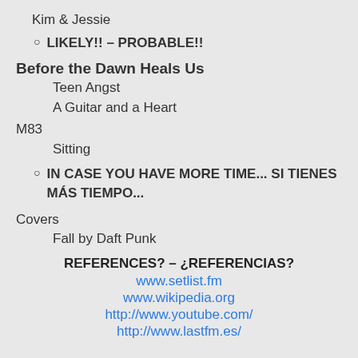Kim & Jessie
LIKELY!! – PROBABLE!!
Before the Dawn Heals Us
Teen Angst
A Guitar and a Heart
M83
Sitting
IN CASE YOU HAVE MORE TIME... SI TIENES MÁS TIEMPO...
Covers
Fall by Daft Punk
REFERENCES? – ¿REFERENCIAS?
www.setlist.fm
www.wikipedia.org
http://www.youtube.com/
http://www.lastfm.es/